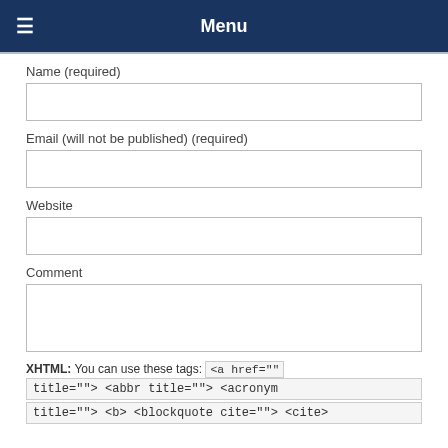Menu
Name (required)
Email (will not be published) (required)
Website
Comment
XHTML: You can use these tags: <a href="" title=""> <abbr title=""> <acronym title=""> <b> <blockquote cite=""> <cite>